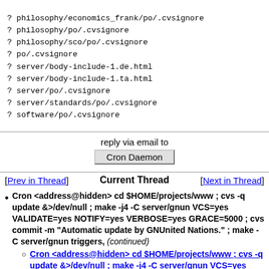? philosophy/economics_frank/po/.cvsignore
? philosophy/po/.cvsignore
? philosophy/sco/po/.cvsignore
? po/.cvsignore
? server/body-include-1.de.html
? server/body-include-1.ta.html
? server/po/.cvsignore
? server/standards/po/.cvsignore
? software/po/.cvsignore
reply via email to
Cron Daemon
[Prev in Thread]   Current Thread   [Next in Thread]
Cron <address@hidden> cd $HOME/projects/www ; cvs -q update &>/dev/null ; make -j4 -C server/gnun VCS=yes VALIDATE=yes NOTIFY=yes VERBOSE=yes GRACE=5000 ; cvs commit -m "Automatic update by GNUnited Nations." ; make -C server/gnun triggers, (continued)
Cron <address@hidden> cd $HOME/projects/www ; cvs -q update &>/dev/null ; make -j4 -C server/gnun VCS=yes